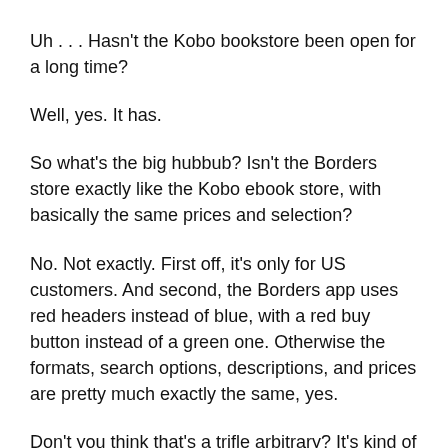Uh . . . Hasn't the Kobo bookstore been open for a long time?
Well, yes. It has.
So what's the big hubbub? Isn't the Borders store exactly like the Kobo ebook store, with basically the same prices and selection?
No. Not exactly. First off, it's only for US customers. And second, the Borders app uses red headers instead of blue, with a red buy button instead of a green one. Otherwise the formats, search options, descriptions, and prices are pretty much exactly the same, yes.
Don't you think that's a trifle arbitrary? It's kind of like Amazon subbing out the Kindle store to a company—let's